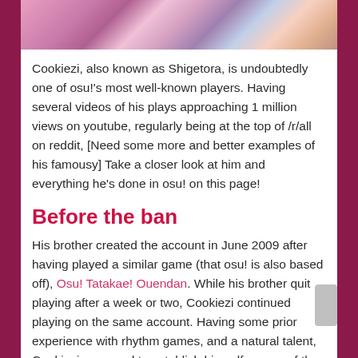[Figure (illustration): Anime-style illustration showing colorful cartoon characters at the top of the page]
Cookiezi, also known as Shigetora, is undoubtedly one of osu!'s most well-known players. Having several videos of his plays approaching 1 million views on youtube, regularly being at the top of /r/all on reddit, [Need some more and better examples of his famousy] Take a closer look at him and everything he's done in osu! on this page!
Before the ban
His brother created the account in June 2009 after having played a similar game (that osu! is also based off), Osu! Tatakae! Ouendan. While his brother quit playing after a week or two, Cookiezi continued playing on the same account. Having some prior experience with rhythm games, and a natural talent, Cookiezi managed to establish himself as one of the most well